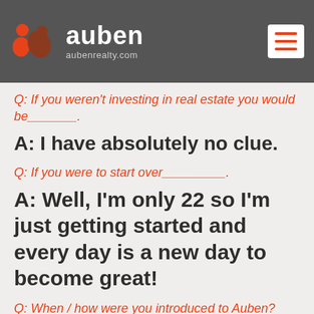auben aubenrealty.com
putting in sweat equity into m...
Q: If you weren't investing in real estate you would be_______.
A: I have absolutely no clue.
Q: If you were to start over_________.
A: Well, I'm only 22 so I'm just getting started and every day is a new day to become great!
Q: When / how were you introduced to Auben?
A: My property that I'm currently flipping is right next